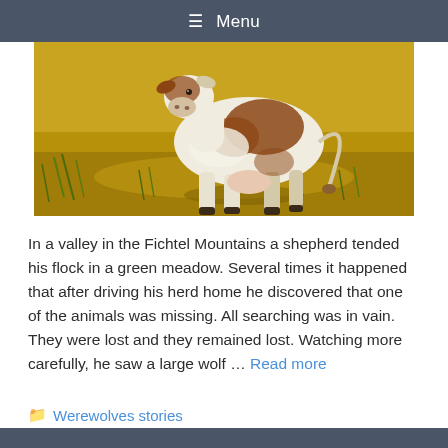☰ Menu
[Figure (illustration): Painted illustration of a cow (brown and white) grazing or walking in a golden-yellow meadow with grass. The image has a painterly, artistic style with warm golden tones.]
In a valley in the Fichtel Mountains a shepherd tended his flock in a green meadow. Several times it happened that after driving his herd home he discovered that one of the animals was missing. All searching was in vain. They were lost and they remained lost. Watching more carefully, he saw a large wolf … Read more
Werewolves stories